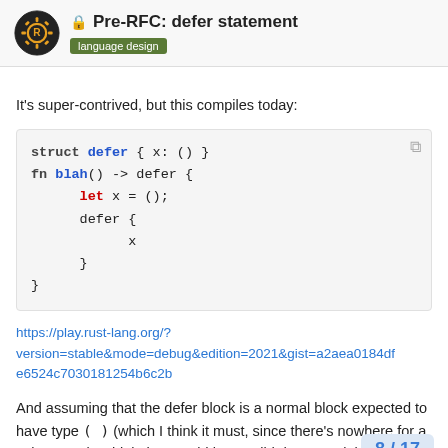Pre-RFC: defer statement | language design
It's super-contrived, but this compiles today:
[Figure (screenshot): Code block showing Rust code: struct defer { x: () } fn blah() -> defer { let x = (); defer { x } }]
https://play.rust-lang.org/?version=stable&mode=debug&edition=2021&gist=a2aea0184dfe6524c7030181254b6c2b
And assuming that the defer block is a normal block expected to have type () (which I think it must, since there's nowhere for a value to go), I think that would be a valid d proposal, but it would then not compile any
8 / 17